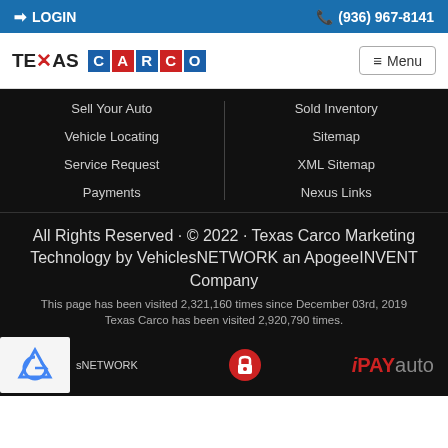LOGIN | (936) 967-8141
[Figure (logo): Texas Carco logo with stylized letters and Menu button]
Sell Your Auto
Vehicle Locating
Service Request
Payments
Sold Inventory
Sitemap
XML Sitemap
Nexus Links
All Rights Reserved · © 2022 · Texas Carco Marketing Technology by VehiclesNETWORK an ApogeeINVENT Company
This page has been visited 2,321,160 times since December 03rd, 2019
Texas Carco has been visited 2,920,790 times.
[Figure (logo): reCAPTCHA logo, VehiclesNETWORK text, padlock icon, iPAYauto logo]